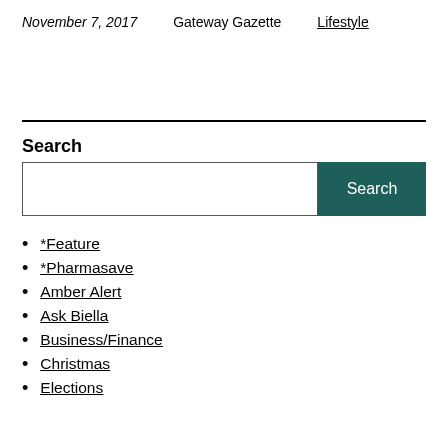November 7, 2017   Gateway Gazette   Lifestyle
Search
*Feature
*Pharmasave
Amber Alert
Ask Biella
Business/Finance
Christmas
Elections